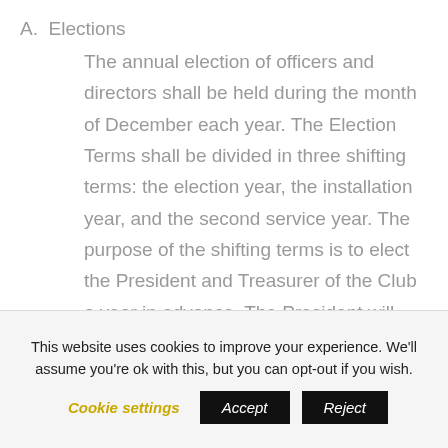A. Elections
The annual election of officers and directors shall be held during the month of December each year. The Election Terms shall be divided in three shifting terms: the election year, the installation year, and the second service year. The purpose of the shifting terms is to elect the President and Treasurer of the Club a year in advance. The President will serve as the Vice President (President Elect) the year before his or her installation as
This website uses cookies to improve your experience. We'll assume you're ok with this, but you can opt-out if you wish.